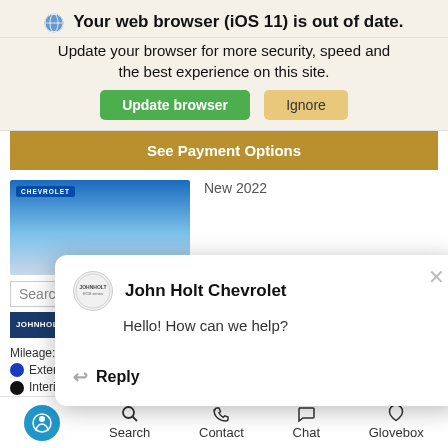Your web browser (iOS 11) is out of date.
Update your browser for more security, speed and the best experience on this site.
Update browser | Ignore
See Payment Options
New 2022
Search by year
Mileage: 4
Exterior: Bright
Interior: Jet Bla... trim
Drivetrain: Rear Wheel Drive
[Figure (screenshot): John Holt Chevrolet chat popup overlay showing dealer name, 'Hello! How can we help?' message, and Reply button]
Details
Accessibility Search Contact Chat Glovebox